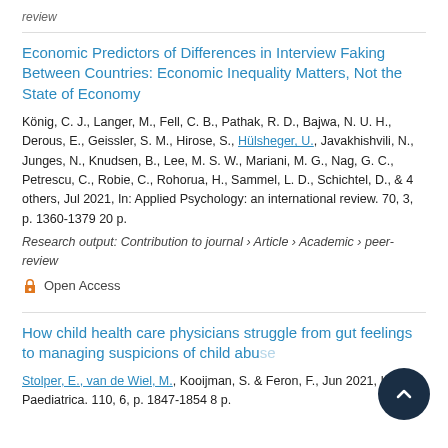review
Economic Predictors of Differences in Interview Faking Between Countries: Economic Inequality Matters, Not the State of Economy
König, C. J., Langer, M., Fell, C. B., Pathak, R. D., Bajwa, N. U. H., Derous, E., Geissler, S. M., Hirose, S., Hülsheger, U., Javakhishvili, N., Junges, N., Knudsen, B., Lee, M. S. W., Mariani, M. G., Nag, G. C., Petrescu, C., Robie, C., Rohorua, H., Sammel, L. D., Schichtel, D., & 4 others, Jul 2021, In: Applied Psychology: an international review. 70, 3, p. 1360-1379 20 p.
Research output: Contribution to journal › Article › Academic › peer-review
Open Access
How child health care physicians struggle from gut feelings to managing suspicions of child abuse
Stolper, E., van de Wiel, M., Kooijman, S. & Feron, F., Jun 2021, In: Acta Paediatrica. 110, 6, p. 1847-1854 8 p.